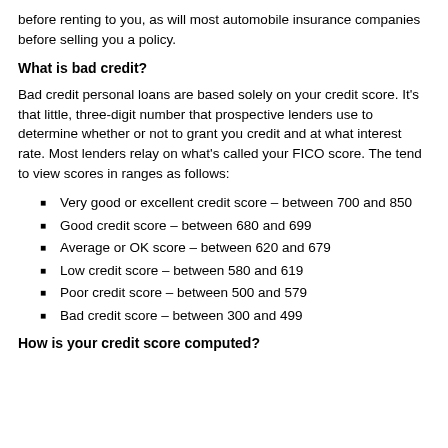before renting to you, as will most automobile insurance companies before selling you a policy.
What is bad credit?
Bad credit personal loans are based solely on your credit score. It’s that little, three-digit number that prospective lenders use to determine whether or not to grant you credit and at what interest rate. Most lenders relay on what’s called your FICO score. The tend to view scores in ranges as follows:
Very good or excellent credit score – between 700 and 850
Good credit score – between 680 and 699
Average or OK score – between 620 and 679
Low credit score – between 580 and 619
Poor credit score – between 500 and 579
Bad credit score – between 300 and 499
How is your credit score computed?